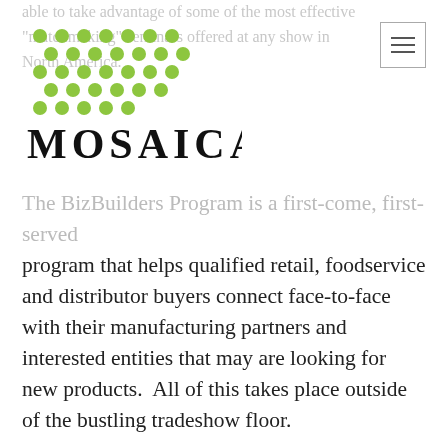[Figure (logo): Mosaica logo with green dot grid pattern above bold serif MOSAICA text]
able to take advantage of some of the most effective "matchmaking" seminars offered at any show in North America.
The BizBuilders Program is a first-come, first-served program that helps qualified retail, foodservice and distributor buyers connect face-to-face with their manufacturing partners and interested entities that may are looking for new products.  All of this takes place outside of the bustling tradeshow floor.
Attendees will also be able to explore what's new and what's HOT in the Innovative Product Showcase center.  This Showcase center will feature hundreds of cutting-edge products.  Attendees will meet the partners of innovators at the New Brands on the